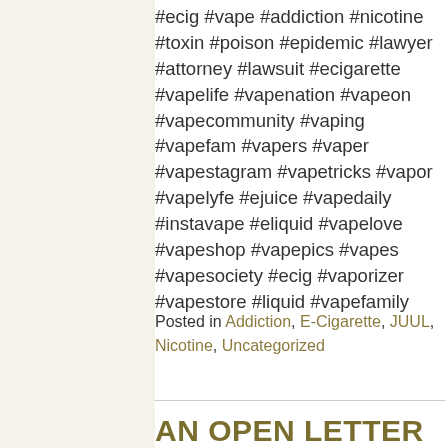#ecig #vape #addiction #nicotine #toxin #poison #epidemic #lawyer #attorney #lawsuit #ecigarette #vapelife #vapenation #vapeon #vapecommunity #vaping #vapefam #vapers #vaper #vapestagram #vapetricks #vapor #vapelyfe #ejuice #vapedaily #instavape #eliquid #vapelove #vapeshop #vapepics #vapes #vapesociety #ecig #vaporizer #vapestore #liquid #vapefamily
Posted in Addiction, E-Cigarette, JUUL, Nicotine, Uncategorized
AN OPEN LETTER TO THOSE IN THE VAPE INDUSTRY WHO